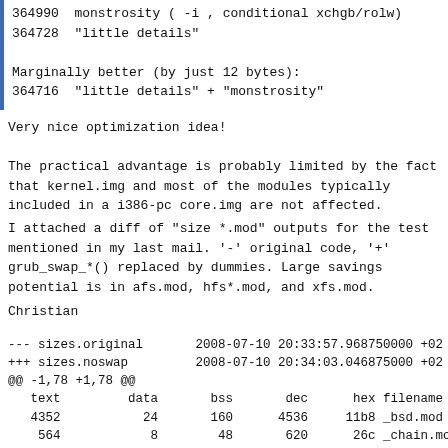364990  monstrosity ( -i , conditional xchgb/rolw)
364728  "little details"

Marginally better (by just 12 bytes):
364716  "little details" + "monstrosity"
Very nice optimization idea!
The practical advantage is probably limited by the fact
that kernel.img and most of the modules typically
included in a i386-pc core.img are not affected.
I attached a diff of "size *.mod" outputs for the test
mentioned in my last mail. '-' original code, '+'
grub_swap_*() replaced by dummies. Large savings
potential is in afs.mod, hfs*.mod, and xfs.mod.
Christian
--- sizes.original       2008-07-10 20:33:57.968750000 +02
+++ sizes.noswap         2008-07-10 20:34:03.046875000 +02
@@ -1,78 +1,78 @@
   text         data       bss       dec      hex filename
   4352           24       160      4536     11b8 _bsd.mod
    564            8        48       620      26c _chain.mc
   2128            8        48      2184      888 _linux.mc
   6528           48       128      6704     1a30 _multiboo